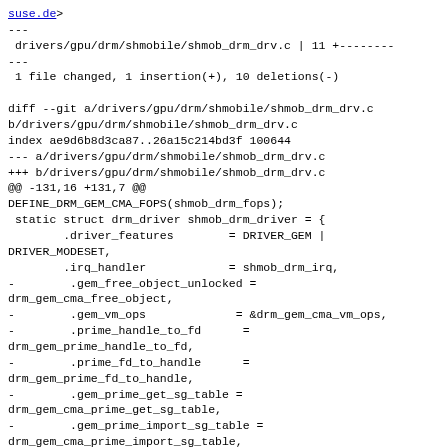suse.de>
---
 drivers/gpu/drm/shmobile/shmob_drm_drv.c | 11 +--------
---
 1 file changed, 1 insertion(+), 10 deletions(-)

diff --git a/drivers/gpu/drm/shmobile/shmob_drm_drv.c
b/drivers/gpu/drm/shmobile/shmob_drm_drv.c
index ae9d6b8d3ca87..26a15c214bd3f 100644
--- a/drivers/gpu/drm/shmobile/shmob_drm_drv.c
+++ b/drivers/gpu/drm/shmobile/shmob_drm_drv.c
@@ -131,16 +131,7 @@
DEFINE_DRM_GEM_CMA_FOPS(shmob_drm_fops);
 static struct drm_driver shmob_drm_driver = {
        .driver_features        = DRIVER_GEM |
DRIVER_MODESET,
        .irq_handler            = shmob_drm_irq,
-        .gem_free_object_unlocked =
drm_gem_cma_free_object,
-        .gem_vm_ops             = &drm_gem_cma_vm_ops,
-        .prime_handle_to_fd      =
drm_gem_prime_handle_to_fd,
-        .prime_fd_to_handle      =
drm_gem_prime_fd_to_handle,
-        .gem_prime_get_sg_table =
drm_gem_cma_prime_get_sg_table,
-        .gem_prime_import_sg_table =
drm_gem_cma_prime_import_sg_table,
-        .gem_prime_vmap          =
drm_gem_cma_prime_vmap,